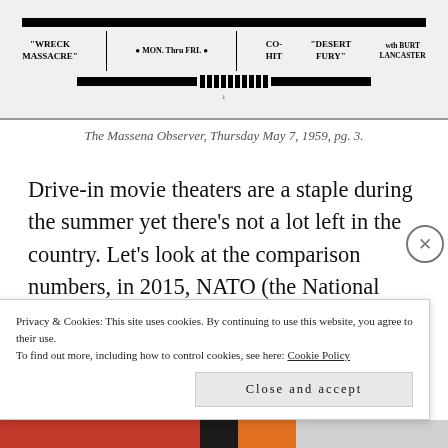[Figure (photo): Scanned newspaper advertisement showing text including 'MASSACRE', 'MON. Thru FRI.', 'CO-HIT', 'DESERT FURY', 'with BURT LANCASTER' with decorative horizontal bars and dot patterns.]
The Massena Observer, Thursday May 7, 1959, pg. 3.
Drive-in movie theaters are a staple during the summer yet there’s not a lot left in the country. Let’s look at the comparison numbers, in 2015, NATO (the National Association of Theater Owners) there are 595 drive-in movie theaters in the country, compared to
Privacy & Cookies: This site uses cookies. By continuing to use this website, you agree to their use.
To find out more, including how to control cookies, see here: Cookie Policy
Close and accept